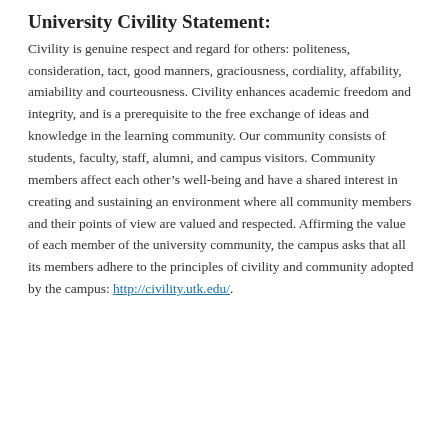University Civility Statement:
Civility is genuine respect and regard for others: politeness, consideration, tact, good manners, graciousness, cordiality, affability, amiability and courteousness. Civility enhances academic freedom and integrity, and is a prerequisite to the free exchange of ideas and knowledge in the learning community. Our community consists of students, faculty, staff, alumni, and campus visitors. Community members affect each other’s well-being and have a shared interest in creating and sustaining an environment where all community members and their points of view are valued and respected. Affirming the value of each member of the university community, the campus asks that all its members adhere to the principles of civility and community adopted by the campus: http://civility.utk.edu/.